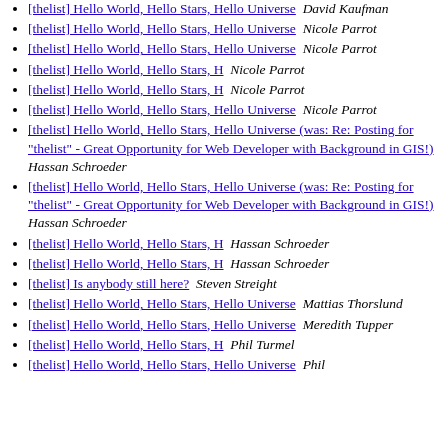[thelist] Hello World, Hello Stars, Hello Universe  David Kaufman
[thelist] Hello World, Hello Stars, Hello Universe  Nicole Parrot
[thelist] Hello World, Hello Stars, Hello Universe  Nicole Parrot
[thelist] Hello World, Hello Stars, H  Nicole Parrot
[thelist] Hello World, Hello Stars, H  Nicole Parrot
[thelist] Hello World, Hello Stars, Hello Universe  Nicole Parrot
[thelist] Hello World, Hello Stars, Hello Universe (was: Re: Posting for "thelist" - Great Opportunity for Web Developer with Background in GIS!)  Hassan Schroeder
[thelist] Hello World, Hello Stars, Hello Universe (was: Re: Posting for "thelist" - Great Opportunity for Web Developer with Background in GIS!)  Hassan Schroeder
[thelist] Hello World, Hello Stars, H  Hassan Schroeder
[thelist] Hello World, Hello Stars, H  Hassan Schroeder
[thelist] Is anybody still here?  Steven Streight
[thelist] Hello World, Hello Stars, Hello Universe  Mattias Thorslund
[thelist] Hello World, Hello Stars, Hello Universe  Meredith Tupper
[thelist] Hello World, Hello Stars, H  Phil Turmel
[thelist] Hello World, Hello Stars, Hello Universe  Phil